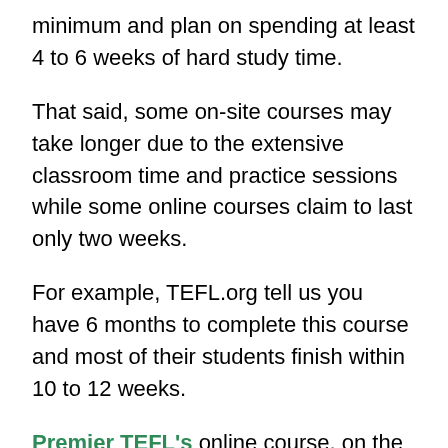minimum and plan on spending at least 4 to 6 weeks of hard study time.
That said, some on-site courses may take longer due to the extensive classroom time and practice sessions while some online courses claim to last only two weeks.
For example, TEFL.org tell us you have 6 months to complete this course and most of their students finish within 10 to 12 weeks.
Premier TEFL's online course, on the other hand, has several levels, with up to 290 hours of self-paced training that takes 3 to 8 weeks to complete.
Let's go over the two main factors to determine how long it takes to get a TEFL certificate.